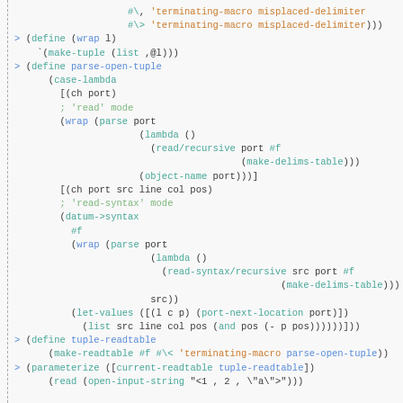[Figure (screenshot): Scheme/Racket REPL code block showing definitions for wrap, parse-open-tuple, and tuple-readtable with syntax highlighting in teal, blue, green, and orange colors on a light gray background]